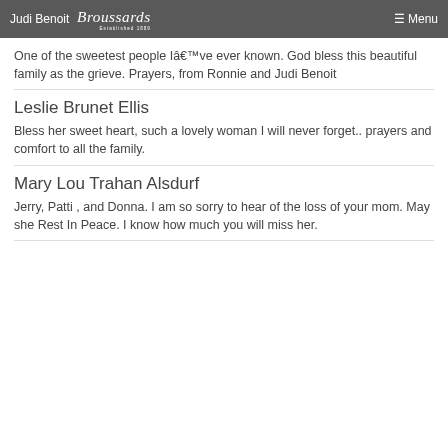Judi Benoit | Broussards Established 1889 | Menu
One of the sweetest people Iâ€™ve ever known. God bless this beautiful family as the grieve. Prayers, from Ronnie and Judi Benoit
Leslie Brunet Ellis
Bless her sweet heart, such a lovely woman I will never forget.. prayers and comfort to all the family.
Mary Lou Trahan Alsdurf
Jerry, Patti , and Donna. I am so sorry to hear of the loss of your mom. May she Rest In Peace. I know how much you will miss her.